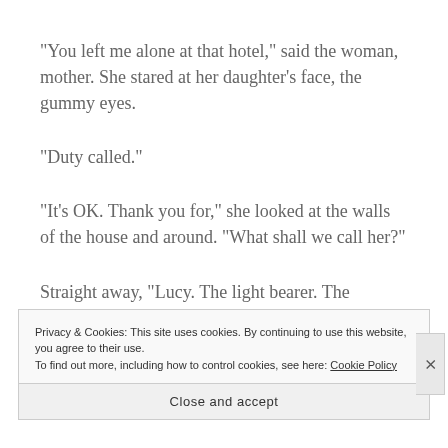“You left me alone at that hotel,” said the woman, mother. She stared at her daughter’s face, the gummy eyes.
“Duty called.”
“It’s OK. Thank you for,” she looked at the walls of the house and around. “What shall we call her?”
Straight away, “Lucy. The light bearer. The morning star.”
Privacy & Cookies: This site uses cookies. By continuing to use this website, you agree to their use.
To find out more, including how to control cookies, see here: Cookie Policy
Close and accept